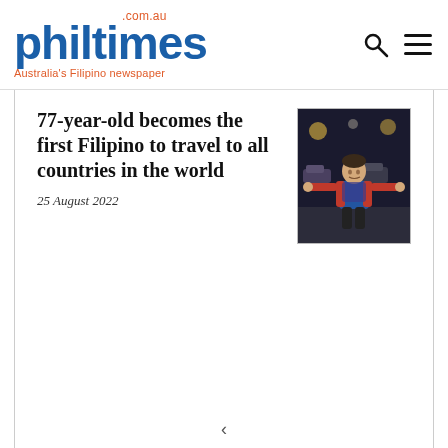philtimes.com.au — Australia's Filipino newspaper
77-year-old becomes the first Filipino to travel to all countries in the world
25 August 2022
[Figure (photo): A woman with arms outstretched in a parking lot at night, wearing a red jacket and carrying a backpack]